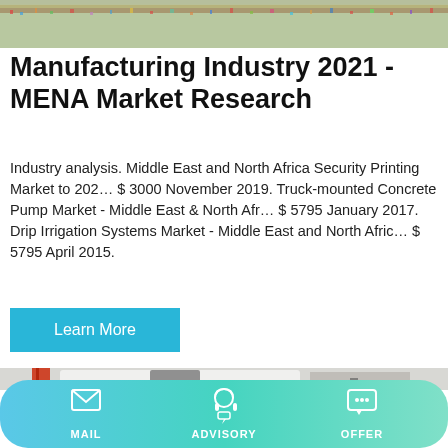[Figure (photo): Aerial or crowd scene, colorful outdoor setting with many people or vehicles]
Manufacturing Industry 2021 - MENA Market Research
Industry analysis. Middle East and North Africa Security Printing Market to 202… $ 3000 November 2019. Truck-mounted Concrete Pump Market - Middle East & North Afr… $ 5795 January 2017. Drip Irrigation Systems Market - Middle East and North Afric… $ 5795 April 2015.
[Figure (other): Button labeled Learn More with cyan/blue background]
[Figure (photo): Truck-mounted concrete pump vehicle, white, with orange crane and worker operating equipment]
MAIL   ADVISORY   OFFER